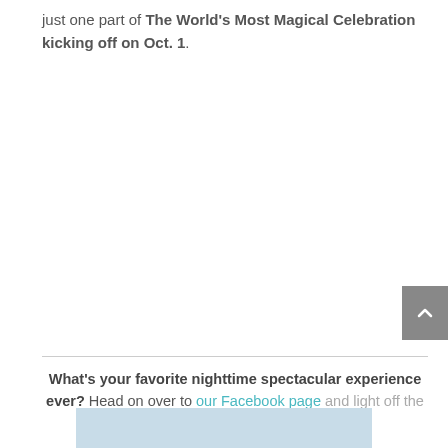just one part of The World's Most Magical Celebration kicking off on Oct. 1.
What's your favorite nighttime spectacular experience ever? Head on over to our Facebook page and light off the fireworks in your memory.
[Figure (photo): Partial image of what appears to be a fireworks or nighttime scene, visible at the bottom of the page]